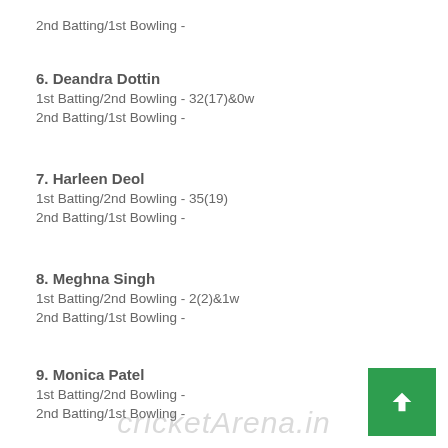2nd Batting/1st Bowling -
6. Deandra Dottin
1st Batting/2nd Bowling - 32(17)&0w
2nd Batting/1st Bowling -
7. Harleen Deol
1st Batting/2nd Bowling - 35(19)
2nd Batting/1st Bowling -
8. Meghna Singh
1st Batting/2nd Bowling - 2(2)&1w
2nd Batting/1st Bowling -
9. Monica Patel
1st Batting/2nd Bowling -
2nd Batting/1st Bowling -